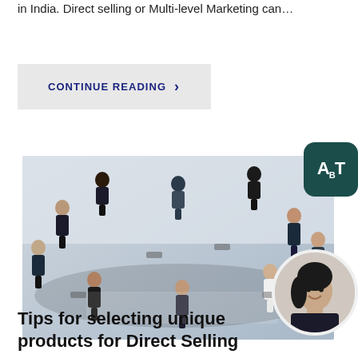in India. Direct selling or Multi-level Marketing can…
CONTINUE READING >
[Figure (photo): Overhead/aerial view of a group of business professionals seated in a circle on chairs, appearing to be in a meeting or discussion in a bright office space.]
[Figure (logo): ABT logo badge — dark teal rounded square with white text 'ABT' where B has a subscript-style letter]
[Figure (photo): Circular avatar photo of a woman with dark hair, smiling, wearing a dark outfit]
Tips for selecting unique products for Direct Selling